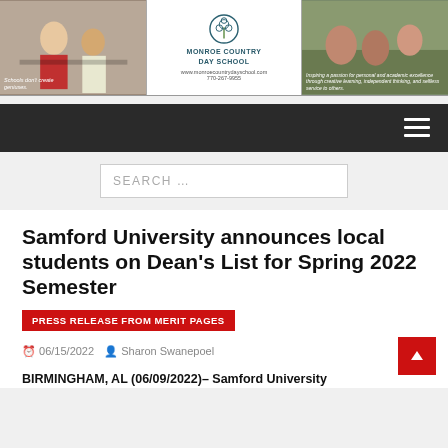[Figure (photo): Three-panel advertisement banner: left panel shows two women in conversation (school ad), center panel shows Monroe Country Day School logo with tree emblem and contact info, right panel shows children working outdoors with school mission text.]
[Figure (screenshot): Dark navigation bar with hamburger menu icon on right side.]
SEARCH …
Samford University announces local students on Dean's List for Spring 2022 Semester
PRESS RELEASE FROM MERIT PAGES
06/15/2022   Sharon Swanepoel
BIRMINGHAM, AL (06/09/2022)– Samford University